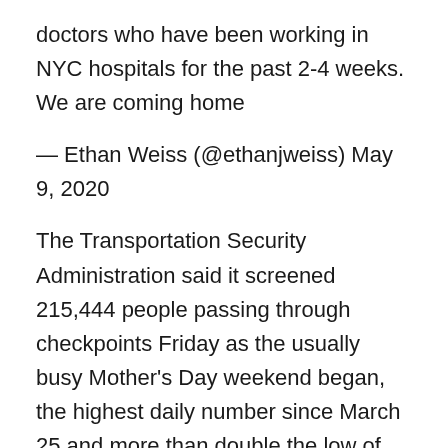doctors who have been working in NYC hospitals for the past 2-4 weeks. We are coming home
— Ethan Weiss (@ethanjweiss) May 9, 2020
The Transportation Security Administration said it screened 215,444 people passing through checkpoints Friday as the usually busy Mother's Day weekend began, the highest daily number since March 25 and more than double the low of 87,534 on April 14. Airline executives have repeatedly said this month that they believe travel demand bottomed in mid-April.
Friday's figure is still down nearly 92% from the same Friday a year ago, however, when 2.6